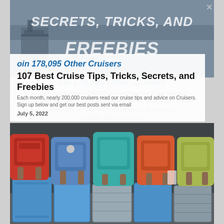[Figure (photo): Top banner image showing cruise tips secrets tricks and freebies text with ship silhouette on blue-gray ocean background]
107 Best Cruise Tips, Tricks, Secrets, and Freebies
July 5, 2022
Join 178,095 Other Cruisers
Each month, nearly 200,000 cruisers read our cruise tips and advice on Cruisers. Sign up below and get our best posts sent via email; how to save on your next cruise, tips for your vacation, and much more!
[Figure (photo): Collection of colorful luggage and backpacks - red, blue, teal, orange and green backpacks on top of blue and silver suitcases against a dark background]